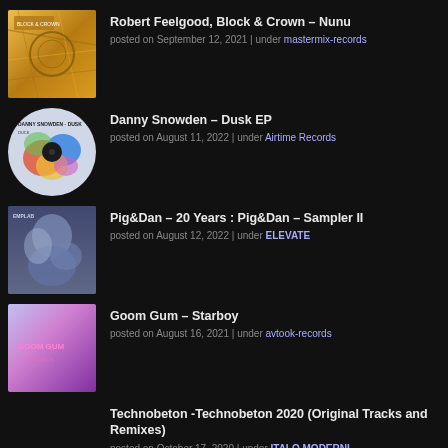Robert Feelgood, Block & Crown – Nunu
posted on September 12, 2021 | under mastermix-records
Danny Snowden – Dusk EP
posted on August 11, 2022 | under Airtime Records
Pig&Dan – 20 Years : Pig&Dan – Sampler II
posted on August 12, 2022 | under ELEVATE
Goom Gum – Starboy
posted on August 16, 2021 | under avtook-records
Technobeton -Technobeton 2020 (Original Tracks and Remixes)
posted on October 17, 2020 | under ITALO MODERNI